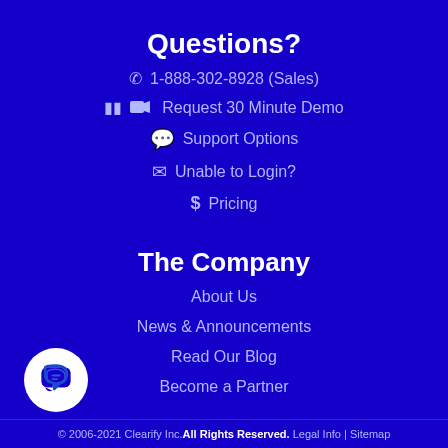Questions?
1-888-302-8928 (Sales)
Request 30 Minute Demo
Support Options
Unable to Login?
Pricing
The Company
About Us
News & Announcements
Read Our Blog
Become a Partner
[Figure (illustration): White circular chat bubble icon on dark blue background]
© 2006-2021 Clearify Inc. All Rights Reserved. Legal Info | Sitemap